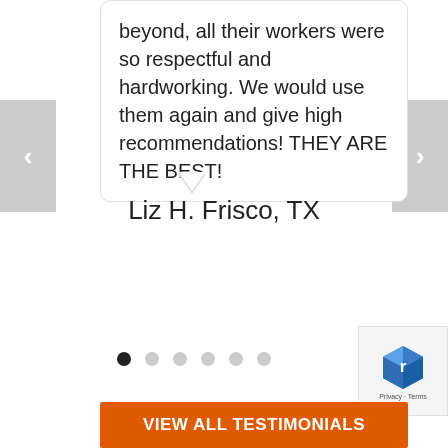beyond, all their workers were so respectful and hardworking. We would use them again and give high recommendations! THEY ARE THE BEST!
Liz H. Frisco, TX
[Figure (screenshot): Carousel navigation dots: 6 dots, first one filled black (active), rest gray]
VIEW ALL TESTIMONIALS